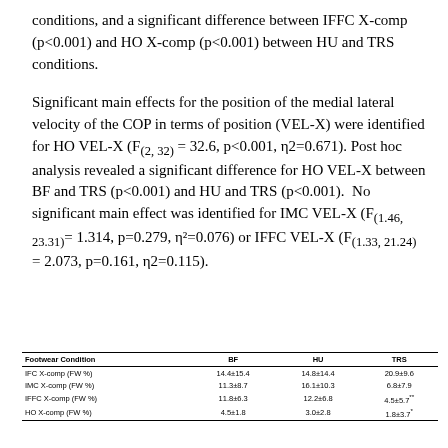conditions, and a significant difference between IFFC X-comp (p<0.001) and HO X-comp (p<0.001) between HU and TRS conditions.
Significant main effects for the position of the medial lateral velocity of the COP in terms of position (VEL-X) were identified for HO VEL-X (F(2, 32) = 32.6, p<0.001, η2=0.671). Post hoc analysis revealed a significant difference for HO VEL-X between BF and TRS (p<0.001) and HU and TRS (p<0.001). No significant main effect was identified for IMC VEL-X (F(1.46, 23.31) = 1.314, p=0.279, η²=0.076) or IFFC VEL-X (F(1.33, 21.24) = 2.073, p=0.161, η2=0.115).
| Footwear Condition | BF | HU | TRS |
| --- | --- | --- | --- |
| IFC X-comp (FW %) | 14.4±15.4 | 14.8±14.4 | 20.9±9.6 |
| IMC X-comp (FW %) | 11.3±8.7 | 16.1±10.3 | 6.8±7.9 |
| IFFC X-comp (FW %) | 11.8±6.3 | 12.2±6.8 | 4.5±5.7** |
| HO X-comp (FW %) | 4.5±1.8 | 3.0±2.8 | 1.8±3.7* |